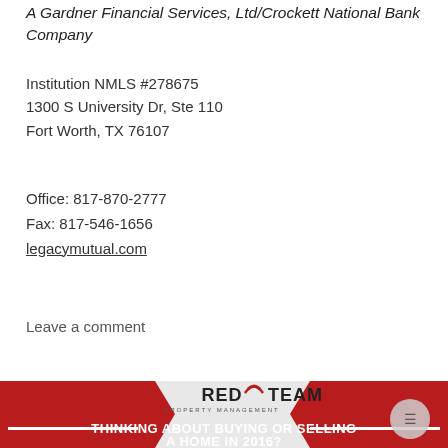A Gardner Financial Services, Ltd/Crockett National Bank Company
Institution NMLS #278675
1300 S University Dr, Ste 110
Fort Worth, TX 76107
Office: 817-870-2777
Fax: 817-546-1656
legacymutual.com
Leave a comment
[Figure (infographic): Red Team Property Management banner with logo and text 'THINKING ABOUT BUYING OR SELLING A HOME IN 2016?']